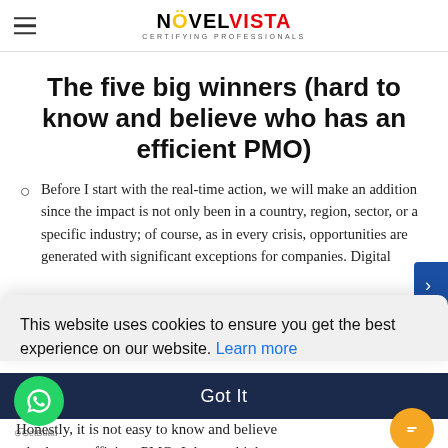NovelVista — Certifying Professionals
The five big winners (hard to know and believe who has an efficient PMO)
Before I start with the real-time action, we will make an addition since the impact is not only been in a country, region, sector, or a specific industry; of course, as in every crisis, opportunities are generated with significant exceptions for companies. Digital
This website uses cookies to ensure you get the best experience on our website. Learn more
Got It
Honestly, it is not easy to know and believe who has an efficient PMO; I do not think